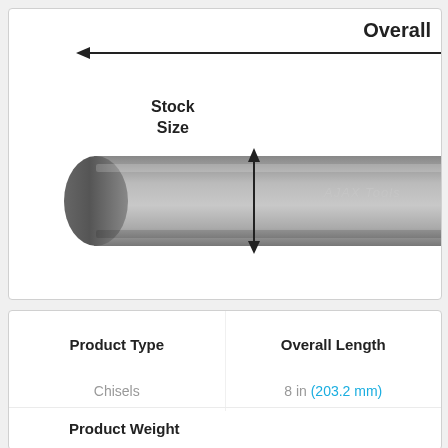[Figure (engineering-diagram): Engineering diagram of a chisel (Ajax Tools) showing a cylindrical rod with an arrowhead dimension line pointing left labeled 'Overall' (cut off at right edge) along the top, and a vertical double-headed arrow labeled 'Stock Size' indicating the diameter of the round stock in the middle section.]
| Product Type | Overall Length | Product Weight |
| --- | --- | --- |
| Chisels | 8 in (203.2 mm) |  |